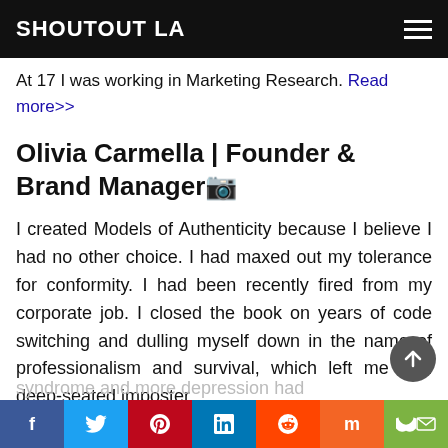SHOUTOUT LA
At 17 I was working in Marketing Research. Read more>>
Olivia Carmella | Founder & Brand Manager
I created Models of Authenticity because I believe I had no other choice. I had maxed out my tolerance for conformity. I had been recently fired from my corporate job. I closed the book on years of code switching and dulling myself down in the name of professionalism and survival, which left me with deep-seated imposter syndrome and more depression had